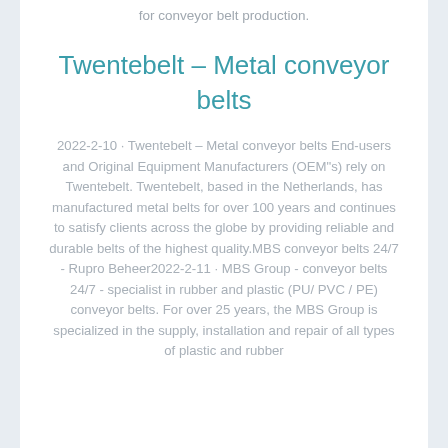for conveyor belt production.
Twentebelt – Metal conveyor belts
2022-2-10 · Twentebelt – Metal conveyor belts End-users and Original Equipment Manufacturers (OEM"s) rely on Twentebelt. Twentebelt, based in the Netherlands, has manufactured metal belts for over 100 years and continues to satisfy clients across the globe by providing reliable and durable belts of the highest quality.MBS conveyor belts 24/7 - Rupro Beheer2022-2-11 · MBS Group - conveyor belts 24/7 - specialist in rubber and plastic (PU/ PVC / PE) conveyor belts. For over 25 years, the MBS Group is specialized in the supply, installation and repair of all types of plastic and rubber